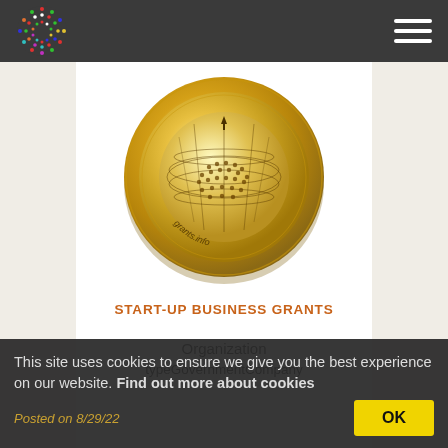Grants.info website header with logo and hamburger menu
[Figure (illustration): Gold medal/coin with globe/target pattern and 'grants.info' text, centered on white card background]
START-UP BUSINESS GRANTS
Organization
typeGovernmentCompany
This site uses cookies to ensure we give you the best experience on our website. Find out more about cookies
Posted on 8/29/22
OK